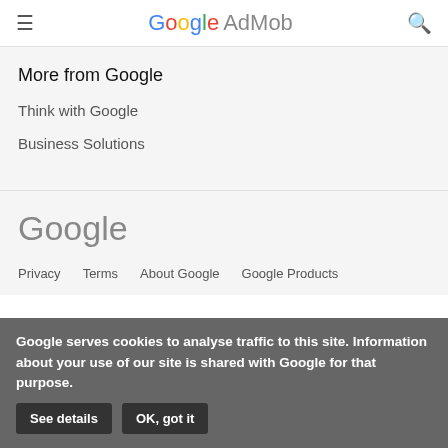≡ Google AdMob 🔍
More from Google
Think with Google
Business Solutions
[Figure (logo): Google wordmark logo in gray]
Privacy   Terms   About Google   Google Products
Google serves cookies to analyse traffic to this site. Information about your use of our site is shared with Google for that purpose. See details   OK, got it